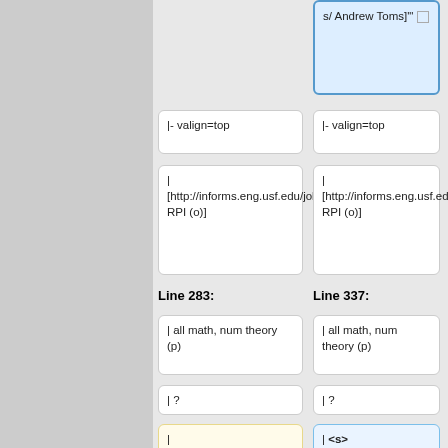|- valign=top
|- valign=top
|
[http://informs.eng.usf.edu/jobs.htm RPI (o)]
|
[http://informs.eng.usf.edu/jobs.htm RPI (o)]
Line 283:
Line 337:
| all math, num theory (p)
| all math, num theory (p)
| ?
| ?
|
[http://www.math.columbia.edu/~mirela/ Mirela Ciperiani],
[http://www.math.columbia.edu/fac-bios/Grigsby/facu
| <s>[http://www.math.columbia.edu/~mirela/ Mirela Ciperiani]</s>,
'''[http://www.math.harvard.edu/~ddamjano/ Danijela